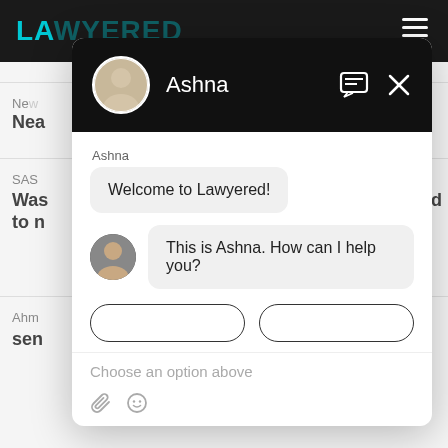[Figure (screenshot): Screenshot of the Lawyered website with a chat popup widget open. The website has a dark top navigation bar with the Lawyered logo in teal. A chat modal shows an AI assistant named Ashna. The chat contains a welcome message 'Welcome to Lawyered!' and a follow-up 'This is Ashna. How can I help you?' along with a text input area showing 'Choose an option above' placeholder and attachment/emoji icons.]